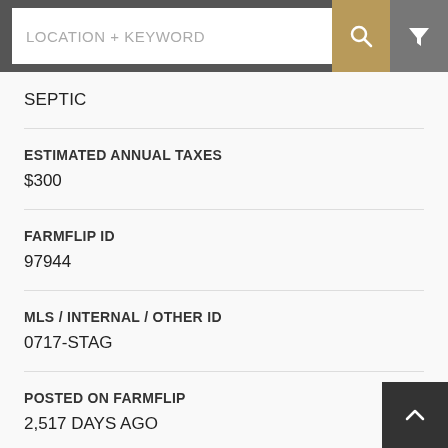LOCATION + KEYWORD
SEPTIC
ESTIMATED ANNUAL TAXES
$300
FARMFLIP ID
97944
MLS / INTERNAL / OTHER ID
0717-STAG
POSTED ON FARMFLIP
2,517 DAYS AGO